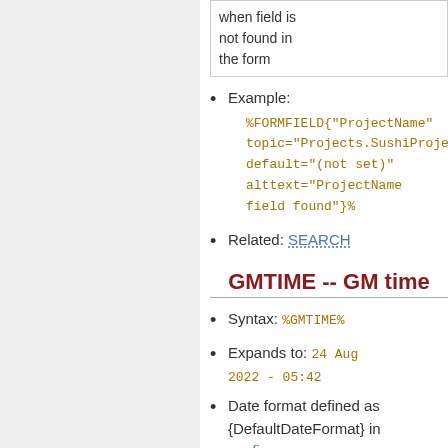| when field is not found in the form |
Example: %FORMFIELD{"ProjectName" topic="Projects.SushiProject" default="(not set)" alttext="ProjectName field found"}%
Related: SEARCH
GMTIME -- GM time
Syntax: %GMTIME%
Expands to: 24 Aug 2022 - 05:42
Date format defined as {DefaultDateFormat} in configure
⚠ Note: When used in a template topic, this variable will be